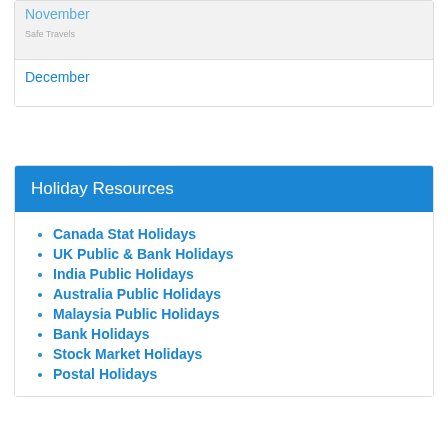November
December
Holiday Resources
Canada Stat Holidays
UK Public & Bank Holidays
India Public Holidays
Australia Public Holidays
Malaysia Public Holidays
Bank Holidays
Stock Market Holidays
Postal Holidays